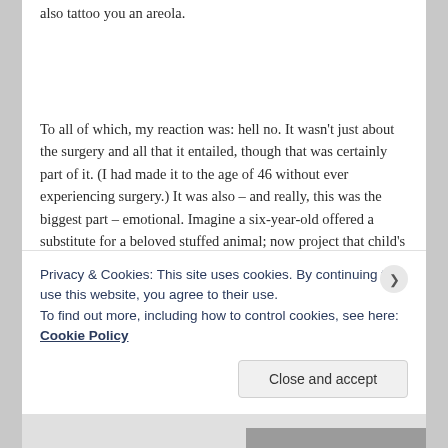also tattoo you an areola.
To all of which, my reaction was: hell no. It wasn't just about the surgery and all that it entailed, though that was certainly part of it. (I had made it to the age of 46 without ever experiencing surgery.) It was also – and really, this was the biggest part – emotional. Imagine a six-year-old offered a substitute for a beloved stuffed animal; now project that child's desperate, disconsolate reaction onto a grown woman threatened with the loss of a body
Privacy & Cookies: This site uses cookies. By continuing to use this website, you agree to their use.
To find out more, including how to control cookies, see here: Cookie Policy
Close and accept